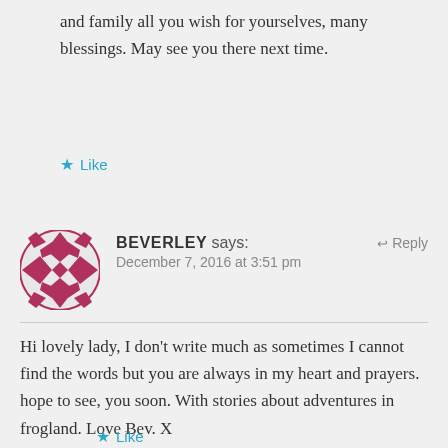and family all you wish for yourselves, many blessings. May see you there next time.
Like
BEVERLEY says:
December 7, 2016 at 3:51 pm
Hi lovely lady, I don't write much as sometimes I cannot find the words but you are always in my heart and prayers. hope to see, you soon. With stories about adventures in frogland. Love Bev. X
Like